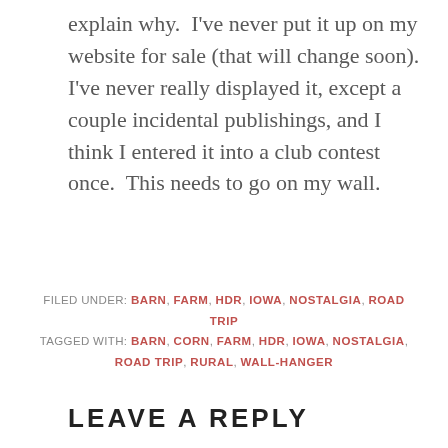explain why.  I've never put it up on my website for sale (that will change soon).  I've never really displayed it, except a couple incidental publishings, and I think I entered it into a club contest once.  This needs to go on my wall.
FILED UNDER: BARN, FARM, HDR, IOWA, NOSTALGIA, ROAD TRIP
TAGGED WITH: BARN, CORN, FARM, HDR, IOWA, NOSTALGIA, ROAD TRIP, RURAL, WALL-HANGER
LEAVE A REPLY